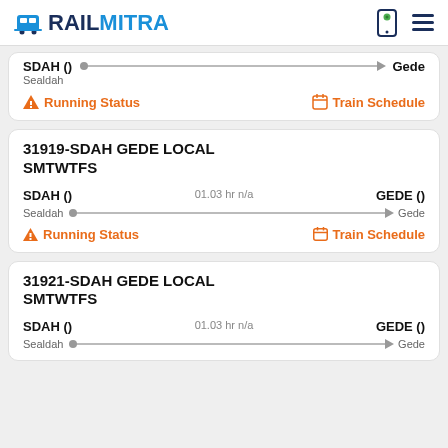RAILMITRA
Sealdah → Gede | Running Status | Train Schedule
31919-SDAH GEDE LOCAL SMTWTFS
SDAH () | 01.03 hr n/a | GEDE ()
Sealdah → Gede
Running Status | Train Schedule
31921-SDAH GEDE LOCAL SMTWTFS
SDAH () | 01.03 hr n/a | GEDE ()
Sealdah → Gede